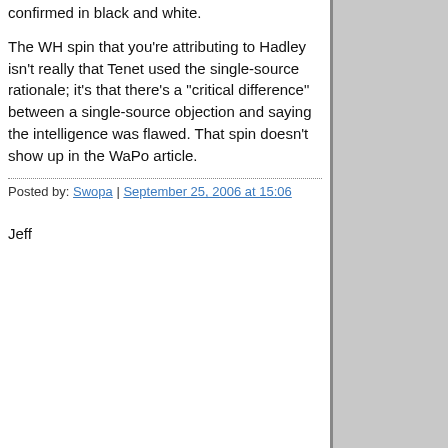confirmed in black and white.
The WH spin that you're attributing to Hadley isn't really that Tenet used the single-source rationale; it's that there's a "critical difference" between a single-source objection and saying the intelligence was flawed. That spin doesn't show up in the WaPo article.
Posted by: Swopa | September 25, 2006 at 15:06
Jeff